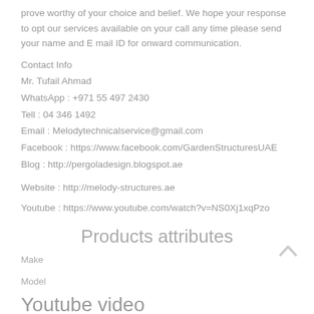prove worthy of your choice and belief. We hope your response to opt our services available on your call any time please send your name and E mail ID for onward communication.
Contact Info
Mr. Tufail Ahmad
WhatsApp : +971 55 497 2430
Tell : 04 346 1492
Email : Melodytechnicalservice@gmail.com
Facebook : https://www.facebook.com/GardenStructuresUAE
Blog : http://pergoladesign.blogspot.ae
Website : http://melody-structures.ae
Youtube : https://www.youtube.com/watch?v=NS0Xj1xqPzo
Products attributes
Make
Model
Youtube video